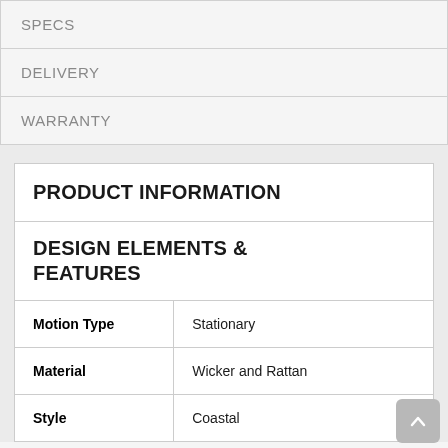SPECS
DELIVERY
WARRANTY
| PRODUCT INFORMATION |  |
| DESIGN ELEMENTS & FEATURES |  |
| Motion Type | Stationary |
| Material | Wicker and Rattan |
| Style | Coastal |